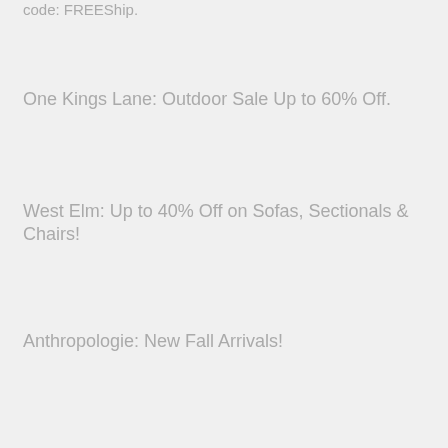code: FREEShip.
One Kings Lane: Outdoor Sale Up to 60% Off.
West Elm: Up to 40% Off on Sofas, Sectionals & Chairs!
Anthropologie: New Fall Arrivals!